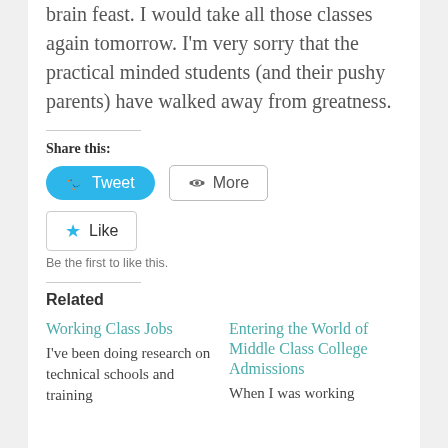brain feast. I would take all those classes again tomorrow. I'm very sorry that the practical minded students (and their pushy parents) have walked away from greatness.
Share this:
[Figure (screenshot): Tweet button (blue, rounded) and More button (outlined) for sharing content on social media]
[Figure (screenshot): Like button with a blue star icon. Caption: Be the first to like this.]
Related
Working Class Jobs
I've been doing research on technical schools and training
Entering the World of Middle Class College Admissions
When I was working